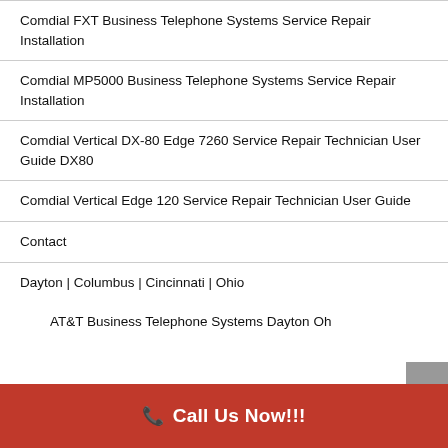Comdial FXT Business Telephone Systems Service Repair Installation
Comdial MP5000 Business Telephone Systems Service Repair Installation
Comdial Vertical DX-80 Edge 7260 Service Repair Technician User Guide DX80
Comdial Vertical Edge 120 Service Repair Technician User Guide
Contact
Dayton | Columbus | Cincinnati | Ohio
AT&T Business Telephone Systems Dayton Oh
📞 Call Us Now!!!